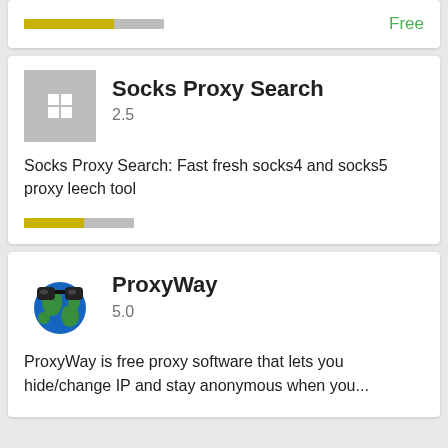[Figure (screenshot): Top partial card with a yellow/grey rating bar on the left and 'Free' label in green on the right]
Free
[Figure (screenshot): App card for Socks Proxy Search with grey Windows-logo icon, rating 2.5, description, and rating bar]
Socks Proxy Search
2.5
Socks Proxy Search: Fast fresh socks4 and socks5 proxy leech tool
[Figure (screenshot): App card for ProxyWay with globe-with-sunglasses icon, rating 5.0, and description]
ProxyWay
5.0
ProxyWay is free proxy software that lets you hide/change IP and stay anonymous when you...